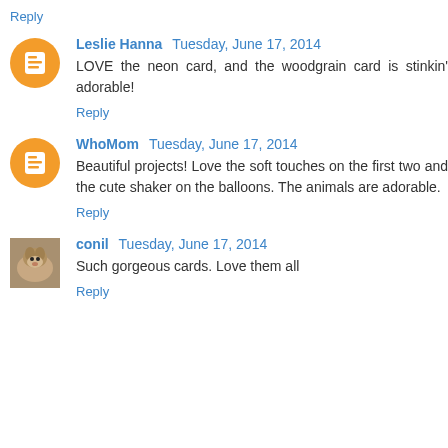Reply
Leslie Hanna  Tuesday, June 17, 2014
LOVE the neon card, and the woodgrain card is stinkin' adorable!
Reply
WhoMom  Tuesday, June 17, 2014
Beautiful projects! Love the soft touches on the first two and the cute shaker on the balloons. The animals are adorable.
Reply
conil  Tuesday, June 17, 2014
Such gorgeous cards. Love them all
Reply